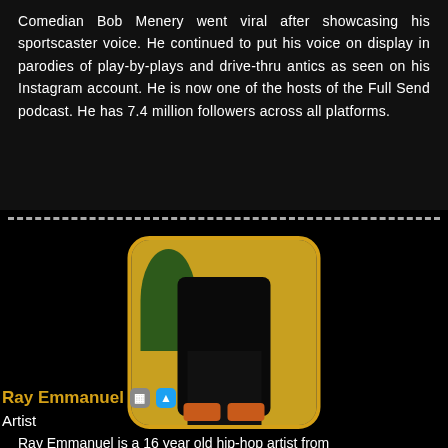Comedian Bob Menery went viral after showcasing his sportscaster voice. He continued to put his voice on display in parodies of play-by-plays and drive-thru antics as seen on his Instagram account. He is now one of the hosts of the Full Send podcast. He has 7.4 million followers across all platforms.
[Figure (photo): Photo of Ray Emmanuel, a young man sitting outdoors against a yellow background with a plant, wearing dark clothing and orange shoes.]
Ray Emmanuel
Artist
Ray Emmanuel is a 16 year old hip-hop artist from